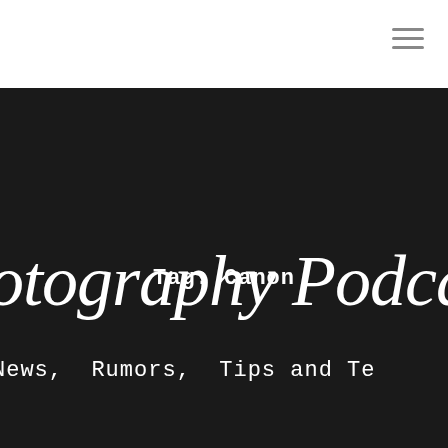☰
Tag: Canon
otography Podcast
News, Rumors, Tips and Te